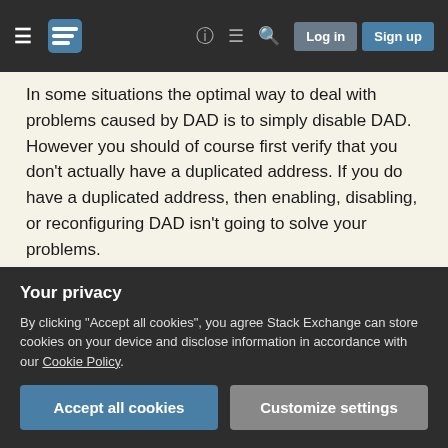Stack Exchange navigation bar with hamburger menu, logo, help, chat, search icons, Log in and Sign up buttons
In some situations the optimal way to deal with problems caused by DAD is to simply disable DAD. However you should of course first verify that you don't actually have a duplicated address. If you do have a duplicated address, then enabling, disabling, or reconfiguring DAD isn't going to solve your problems.
If your system is supposed to be the only legitimate user of an IP address and some other node is responding to ND requests for that IP, then the problem you are facing is ND spoofing and that is
Your privacy
By clicking "Accept all cookies", you agree Stack Exchange can store cookies on your device and disclose information in accordance with our Cookie Policy.
Accept all cookies   Customize settings
conflicts and shouldn't be disabled.